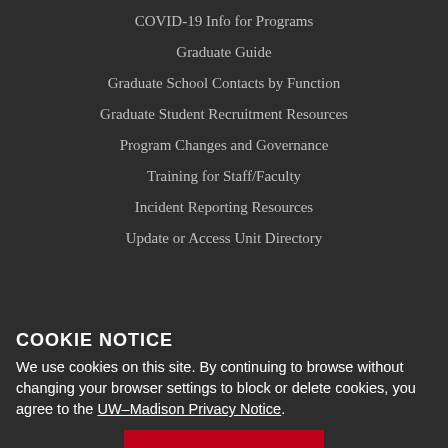COVID-19 Info for Programs
Graduate Guide
Graduate School Contacts by Function
Graduate Student Recruitment Resources
Program Changes and Governance
Training for Staff/Faculty
Incident Reporting Resources
Update or Access Unit Directory
CONTACT US
217 Bascom Hall
Madison, WI 53706
10 am - 3 pm
Monday - Friday
COOKIE NOTICE
We use cookies on this site. By continuing to browse without changing your browser settings to block or delete cookies, you agree to the UW–Madison Privacy Notice.
GOT IT!
Map
Email: gsacserv@grad.wisc.edu